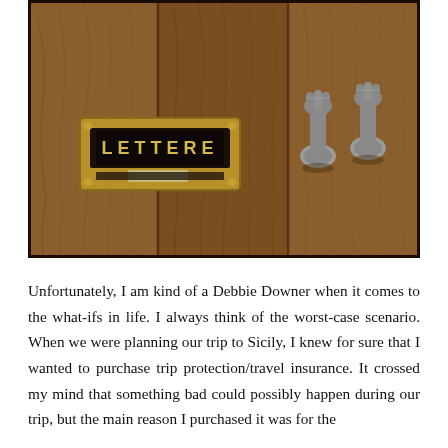[Figure (photo): Close-up photograph of a wooden door with a brass mail slot labeled 'LETTERE' on the left, and two ornate metal hand-shaped door knockers on the right.]
Unfortunately, I am kind of a Debbie Downer when it comes to the what-ifs in life. I always think of the worst-case scenario. When we were planning our trip to Sicily, I knew for sure that I wanted to purchase trip protection/travel insurance. It crossed my mind that something bad could possibly happen during our trip, but the main reason I purchased it was for the